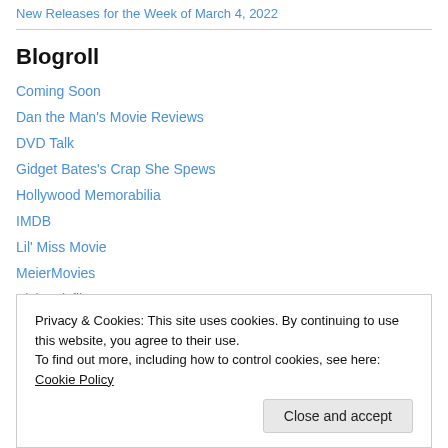New Releases for the Week of March 4, 2022
Blogroll
Coming Soon
Dan the Man's Movie Reviews
DVD Talk
Gidget Bates's Crap She Spews
Hollywood Memorabilia
IMDB
Lil' Miss Movie
MeierMovies
Picknmixflix
Privacy & Cookies: This site uses cookies. By continuing to use this website, you agree to their use. To find out more, including how to control cookies, see here: Cookie Policy